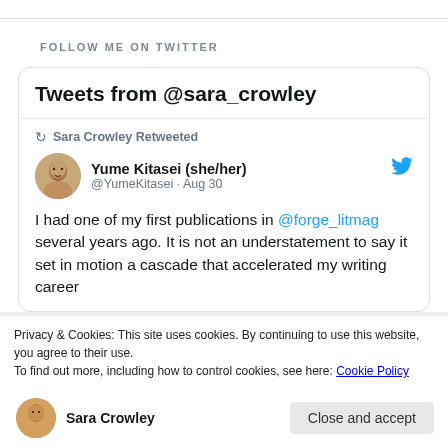FOLLOW ME ON TWITTER
Tweets from @sara_crowley
Sara Crowley Retweeted
Yume Kitasei (she/her) @YumeKitasei · Aug 30
I had one of my first publications in @forge_litmag several years ago. It is not an understatement to say it set in motion a cascade that accelerated my writing career
Privacy & Cookies: This site uses cookies. By continuing to use this website, you agree to their use.
To find out more, including how to control cookies, see here: Cookie Policy
Close and accept
Sara Crowley